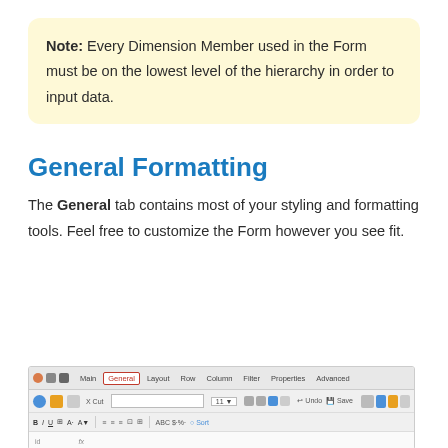Note: Every Dimension Member used in the Form must be on the lowest level of the hierarchy in order to input data.
General Formatting
The General tab contains most of your styling and formatting tools. Feel free to customize the Form however you see fit.
[Figure (screenshot): Screenshot of a software toolbar showing tabs: Main, General (active/highlighted in red), Layout, Row, Column, Filter, Properties, Advanced. Below are two rows of toolbar icons and buttons including formatting controls (B, I, U), alignment icons, and other tool icons. A formula bar is partially visible at the bottom.]